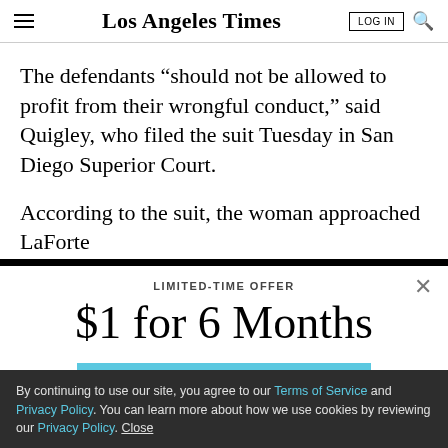Los Angeles Times
The defendants “should not be allowed to profit from their wrongful conduct,” said Quigley, who filed the suit Tuesday in San Diego Superior Court.
According to the suit, the woman approached LaForte
LIMITED-TIME OFFER
$1 for 6 Months
SUBSCRIBE NOW
By continuing to use our site, you agree to our Terms of Service and Privacy Policy. You can learn more about how we use cookies by reviewing our Privacy Policy. Close